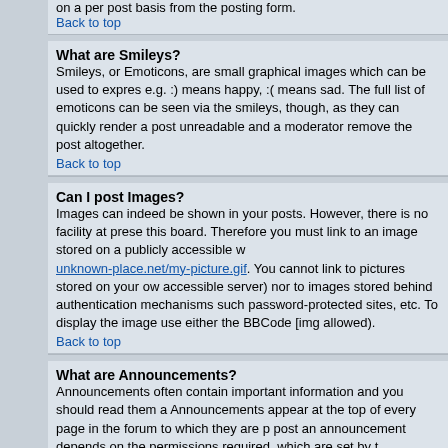on a per post basis from the posting form.
Back to top
What are Smileys?
Smileys, or Emoticons, are small graphical images which can be used to express e.g. :) means happy, :( means sad. The full list of emoticons can be seen via the smileys, though, as they can quickly render a post unreadable and a moderator remove the post altogether.
Back to top
Can I post Images?
Images can indeed be shown in your posts. However, there is no facility at prese this board. Therefore you must link to an image stored on a publicly accessible w unknown-place.net/my-picture.gif. You cannot link to pictures stored on your ow accessible server) nor to images stored behind authentication mechanisms such password-protected sites, etc. To display the image use either the BBCode [img allowed).
Back to top
What are Announcements?
Announcements often contain important information and you should read them a Announcements appear at the top of every page in the forum to which they are p post an announcement depends on the permissions required, which are set by t
Back to top
What are Sticky topics?